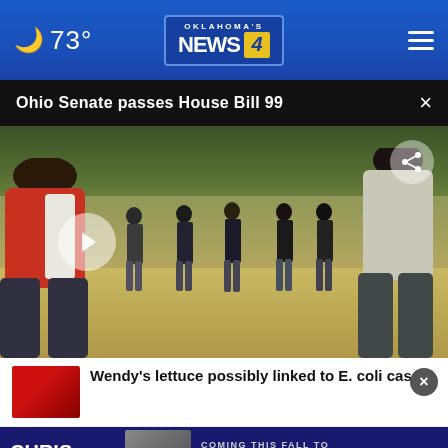🌙 73° | Oklahoma's News 4
Ohio Senate passes House Bill 99
[Figure (screenshot): Video thumbnail showing people on a dirt field, some in tactical vests, viewed from behind two seated/standing individuals in foreground. Play button visible. Share icon in top right.]
Wendy's lettuce possibly linked to E. coli cases
[Figure (photo): Advertisement banner: Chris Cuomo Coming This Fall to NewsNation - Find Your Channel]
CHRIS CUOMO | COMING THIS FALL TO [NEWSNATION] FIND YOUR CHANNEL